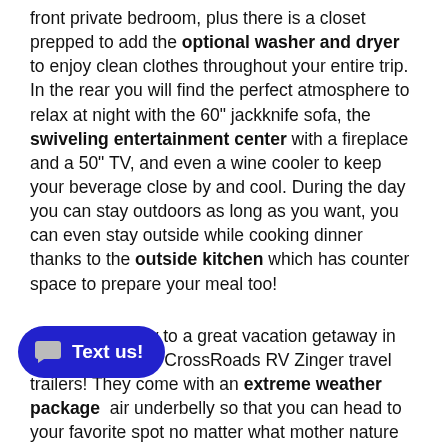front private bedroom, plus there is a closet prepped to add the optional washer and dryer to enjoy clean clothes throughout your entire trip. In the rear you will find the perfect atmosphere to relax at night with the 60" jackknife sofa, the swiveling entertainment center with a fireplace and a 50" TV, and even a wine cooler to keep your beverage close by and cool. During the day you can stay outdoors as long as you want, you can even stay outside while cooking dinner thanks to the outside kitchen which has counter space to prepare your meal too!
Lead your family to a great vacation getaway in any one of these CrossRoads RV Zinger travel trailers! They come with an extreme weather package [and an] air underbelly so that you can head to your favorite spot no matter what mother nature throws your way. With the central control panel